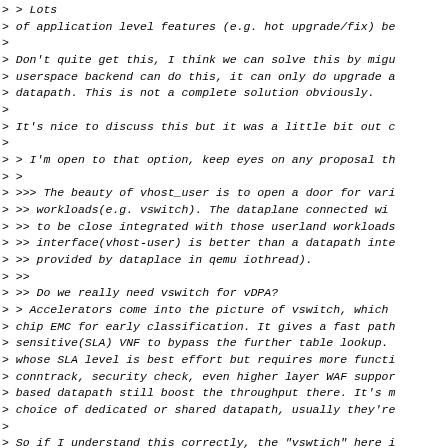> > Lots
> of application level features (e.g. hot upgrade/fix) be
>
> Don't quite get this, I think we can solve this by migu
> userspace backend can do this, it can only do upgrade a
> datapath. This is not a complete solution obviously.
>
> It's nice to discuss this but it was a little bit out c
>
> > I'm open to that option, keep eyes on any proposal th
> >
> >>> The beauty of vhost_user is to open a door for vari
> >> workloads(e.g. vswitch). The dataplane connected wi
> >> to be close integrated with those userland workloads
> >> interface(vhost-user) is better than a datapath inte
> >> provided by dataplace in qemu iothread).
> >>
> >> Do we really need vswitch for vDPA?
> > Accelerators come into the picture of vswitch, which
> chip EMC for early classification. It gives a fast path
> sensitive(SLA) VNF to bypass the further table lookup.
> whose SLA level is best effort but requires more functi
> conntrack, security check, even higher layer WAF suppor
> based datapath still boost the throughput there. It's m
> choice of dedicated or shared datapath, usually they're
>
> So if I understand this correctly, the "vswtich" here i
> (something like smart NICs or OVS offloaded). So the qu
> user a must in this case?